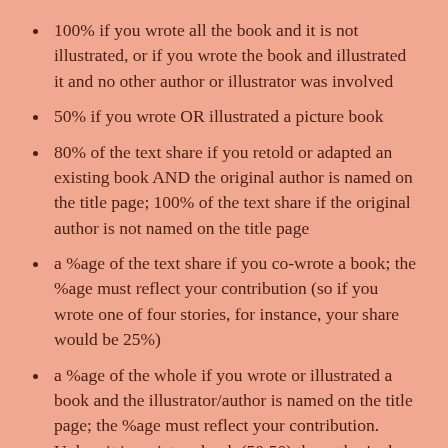100% if you wrote all the book and it is not illustrated, or if you wrote the book and illustrated it and no other author or illustrator was involved
50% if you wrote OR illustrated a picture book
80% of the text share if you retold or adapted an existing book AND the original author is named on the title page; 100% of the text share if the original author is not named on the title page
a %age of the text share if you co-wrote a book; the %age must reflect your contribution (so if you wrote one of four stories, for instance, your share would be 25%)
a %age of the whole if you wrote or illustrated a book and the illustrator/author is named on the title page; the %age must reflect your contribution. Unless it is a picture book (50:50) the author's share is likely to be more than half, reflecting the balance of text:pictures and should be agreed with the other party/parties
30% of the text share of a translation